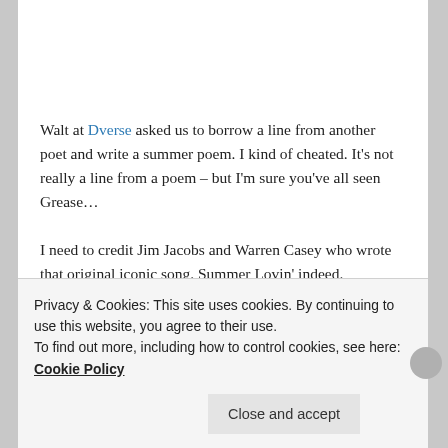Walt at Dverse asked us to borrow a line from another poet and write a summer poem. I kind of cheated. It's not really a line from a poem – but I'm sure you've all seen Grease…
I need to credit Jim Jacobs and Warren Casey who wrote that original iconic song. Summer Lovin' indeed.
Posted in #poetry challenge, dVerse, Uncategorized | Tagged poem, summer | 15 Replies
Privacy & Cookies: This site uses cookies. By continuing to use this website, you agree to their use. To find out more, including how to control cookies, see here: Cookie Policy